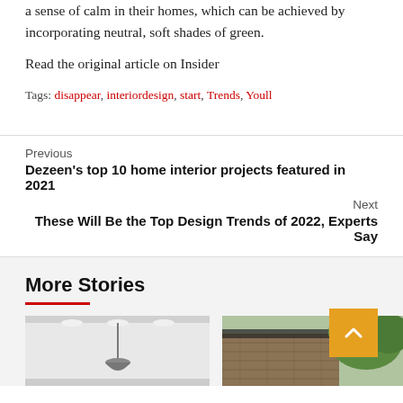a sense of calm in their homes, which can be achieved by incorporating neutral, soft shades of green.
Read the original article on Insider
Tags: disappear, interiordesign, start, Trends, Youll
Previous
Dezeen's top 10 home interior projects featured in 2021
Next
These Will Be the Top Design Trends of 2022, Experts Say
More Stories
[Figure (photo): Interior room photo with ceiling lights]
[Figure (photo): Exterior brick building with green foliage]